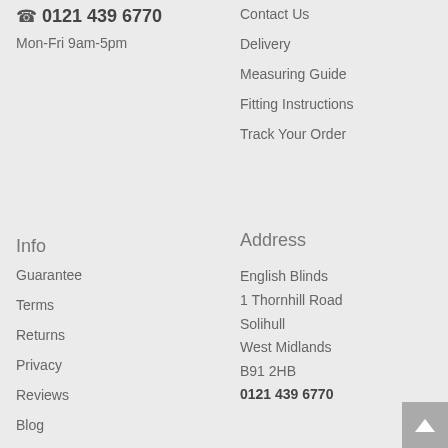0121 439 6770
Mon-Fri 9am-5pm
Contact Us
Delivery
Measuring Guide
Fitting Instructions
Track Your Order
Info
Address
Guarantee
Terms
Returns
Privacy
Reviews
Blog
English Blinds
1 Thornhill Road
Solihull
West Midlands
B91 2HB
0121 439 6770